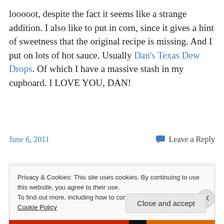looooot, despite the fact it seems like a strange addition. I also like to put in corn, since it gives a hint of sweetness that the original recipe is missing. And I put on lots of hot sauce. Usually Dan's Texas Dew Drops. Of which I have a massive stash in my cupboard. I LOVE YOU, DAN!
June 6, 2011   Leave a Reply
Privacy & Cookies: This site uses cookies. By continuing to use this website, you agree to their use. To find out more, including how to control cookies, see here: Cookie Policy